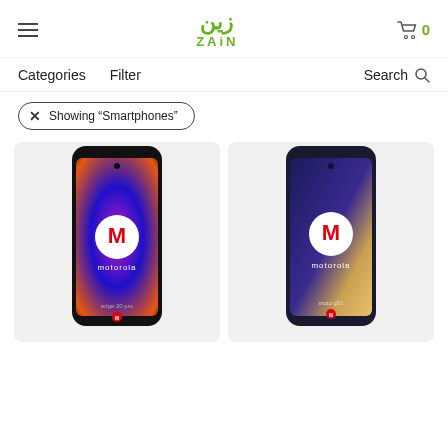Zain — navigation header with hamburger menu, Zain logo, and cart icon (0 items)
Categories    Filter                                                       Search
× Showing "Smartphones"
[Figure (photo): Motorola Edge 20 Pro smartphone product photo on light grey card background]
[Figure (photo): Motorola Moto G51 smartphone product photo on light grey card background]